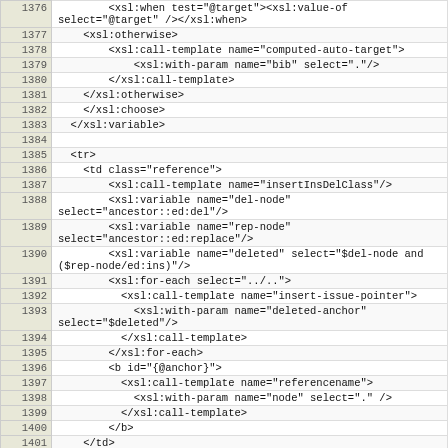| line | code |
| --- | --- |
| 1376 |         <xsl:when test="@target"><xsl:value-of select="@target" /></xsl:when> |
| 1377 |     <xsl:otherwise> |
| 1378 |         <xsl:call-template name="computed-auto-target"> |
| 1379 |             <xsl:with-param name="bib" select="."/> |
| 1380 |         </xsl:call-template> |
| 1381 |     </xsl:otherwise> |
| 1382 |     </xsl:choose> |
| 1383 |   </xsl:variable> |
| 1384 |  |
| 1385 |   <tr> |
| 1386 |     <td class="reference"> |
| 1387 |         <xsl:call-template name="insertInsDelClass"/> |
| 1388 |         <xsl:variable name="del-node" select="ancestor::ed:del"/> |
| 1389 |         <xsl:variable name="rep-node" select="ancestor::ed:replace"/> |
| 1390 |         <xsl:variable name="deleted" select="$del-node and ($rep-node/ed:ins)"/> |
| 1391 |         <xsl:for-each select="../.."> |
| 1392 |           <xsl:call-template name="insert-issue-pointer"> |
| 1393 |             <xsl:with-param name="deleted-anchor" select="$deleted"/> |
| 1394 |           </xsl:call-template> |
| 1395 |         </xsl:for-each> |
| 1396 |         <b id="{@anchor}"> |
| 1397 |           <xsl:call-template name="referencename"> |
| 1398 |             <xsl:with-param name="node" select="." /> |
| 1399 |           </xsl:call-template> |
| 1400 |         </b> |
| 1401 |     </td> |
| 1402 |  |
| 1403 |   <td class="top"> |